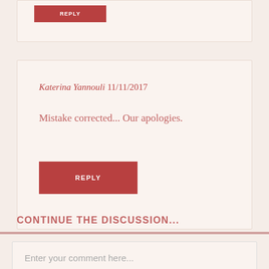Katerina Yannouli 11/11/2017
Mistake corrected... Our apologies.
REPLY
CONTINUE THE DISCUSSION...
Enter your comment here...